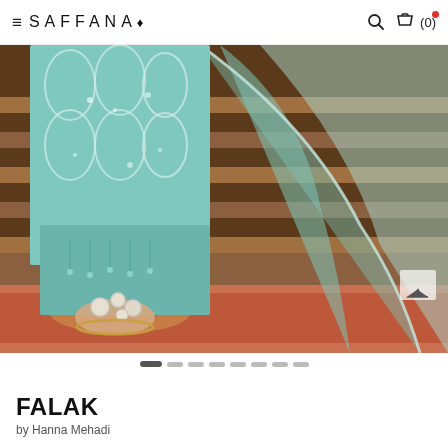SAFFANA (0)
[Figure (photo): Close-up photo of a woman wearing a light teal/mint embroidered Pakistani formal outfit (kameez with intricate floral embroidery and sequins), teal wide-leg pants, and jeweled sandals with ankle accessories, standing on a floral rug near wooden stairs. A sheer teal dupatta (scarf) with embroidered border is draped alongside.]
FALAK
by Hanna Mehadi